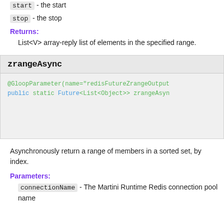start - the start
stop - the stop
Returns:
List<V> array-reply list of elements in the specified range.
zrangeAsync
[Figure (screenshot): @GloopParameter(name="redisFutureZrangeOutput...
public static Future<List<Object>> zrangeAsyn...]
Asynchronously return a range of members in a sorted set, by index.
Parameters:
connectionName - The Martini Runtime Redis connection pool name